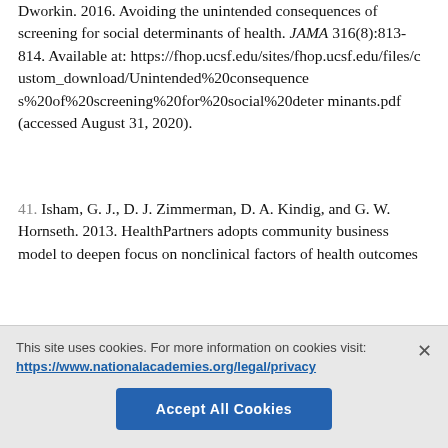Dworkin. 2016. Avoiding the unintended consequences of screening for social determinants of health. JAMA 316(8):813-814. Available at: https://fhop.ucsf.edu/sites/fhop.ucsf.edu/files/custom_download/Unintended%20consequences%20of%20screening%20for%20social%20determinants.pdf (accessed August 31, 2020).
41. Isham, G. J., D. J. Zimmerman, D. A. Kindig, and G. W. Hornseth. 2013. HealthPartners adopts community business model to deepen focus on nonclinical factors of health outcomes
This site uses cookies. For more information on cookies visit: https://www.nationalacademies.org/legal/privacy